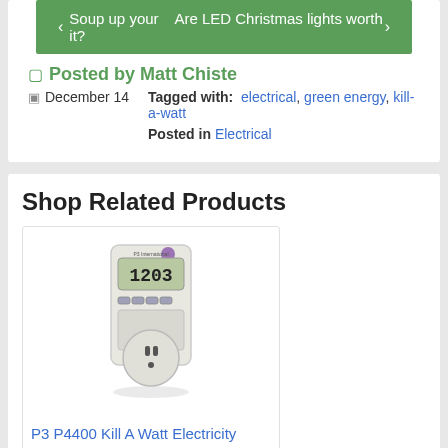‹ Soup up your   Are LED Christmas lights worth it? ›
Posted by Matt Chiste
December 14   Tagged with: electrical, green energy, kill-a-watt   Posted in Electrical
Shop Related Products
[Figure (photo): P3 P4400 Kill A Watt Electricity Usage Monitor device — white plug-in energy monitor with LCD display showing 1203 and power outlet socket]
P3 P4400 Kill A Watt Electricity Usage Monitor
$28.35  $39.95
★★★★½ (8730)